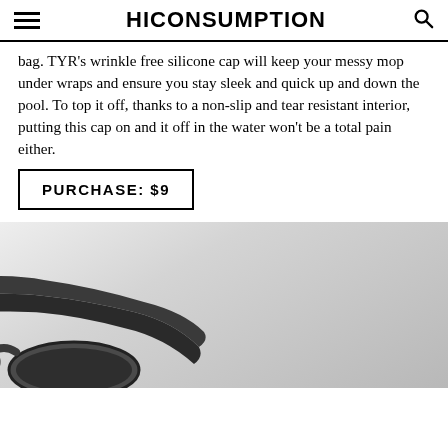HICONSUMPTION
bag. TYR's wrinkle free silicone cap will keep your messy mop under wraps and ensure you stay sleek and quick up and down the pool. To top it off, thanks to a non-slip and tear resistant interior, putting this cap on and it off in the water won't be a total pain either.
PURCHASE: $9
[Figure (photo): Product photo of TYR swimming goggles on a light gray gradient background, showing dark gray goggle frame and strap from overhead angle.]